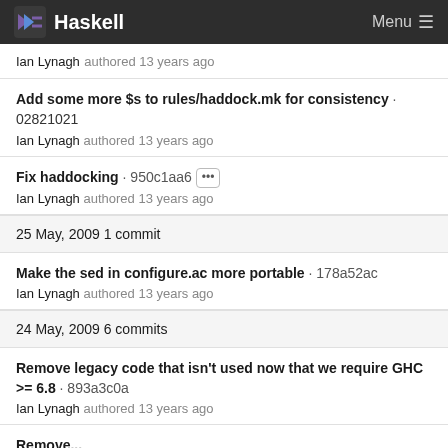Haskell  Menu
Ian Lynagh authored 13 years ago
Add some more $s to rules/haddock.mk for consistency · 02821021
Ian Lynagh authored 13 years ago
Fix haddocking · 950c1aa6
Ian Lynagh authored 13 years ago
25 May, 2009 1 commit
Make the sed in configure.ac more portable · 178a52ac
Ian Lynagh authored 13 years ago
24 May, 2009 6 commits
Remove legacy code that isn't used now that we require GHC >= 6.8 · 893a3c0a
Ian Lynagh authored 13 years ago
Remove...